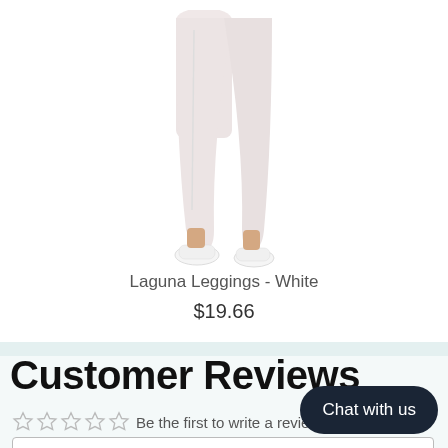[Figure (photo): Lower half of a person wearing white Laguna leggings and white sneakers, product photo on white background]
Laguna Leggings - White
$19.66
Customer Reviews
Be the first to write a review
Write a review
Chat with us